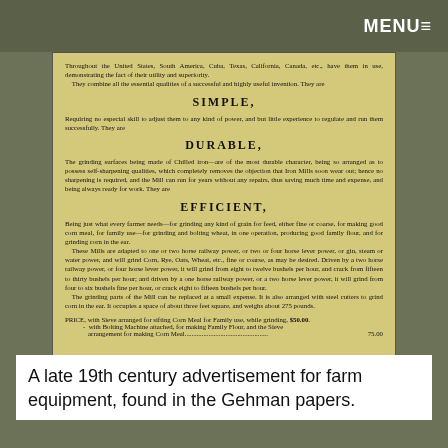MENU
[Figure (photo): A late 19th century advertisement document on aged yellow paper, describing farm mill equipment as Simple, Durable, and Efficient, with pricing information.]
A late 19th century advertisement for farm equipment, found in the Gehman papers.